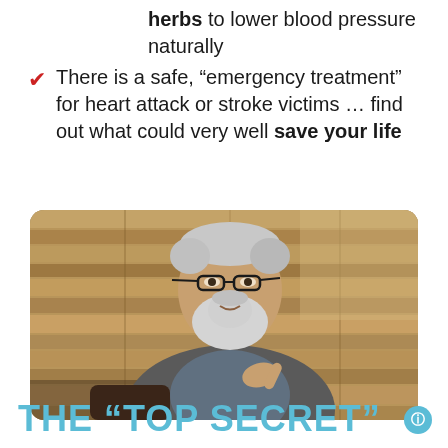herbs to lower blood pressure naturally
There is a safe, “emergency treatment” for heart attack or stroke victims … find out what could very well save your life
[Figure (photo): Elderly man with white hair and beard, wearing glasses and a dark blazer, seated and gesturing with one finger, against a wooden plank wall background]
THE “TOP SECRET”